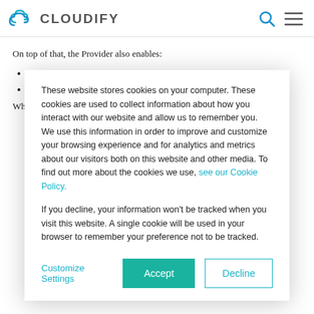CLOUDIFY
On top of that, the Provider also enables:
Kubernetes management of infrastructure lifecycle
Open Infrastructure with native Kubernetes interface
What makes this especially interesting is that Cloudify, now acting
These website stores cookies on your computer. These cookies are used to collect information about how you interact with our website and allow us to remember you. We use this information in order to improve and customize your browsing experience and for analytics and metrics about our visitors both on this website and other media. To find out more about the cookies we use, see our Cookie Policy.

If you decline, your information won't be tracked when you visit this website. A single cookie will be used in your browser to remember your preference not to be tracked.